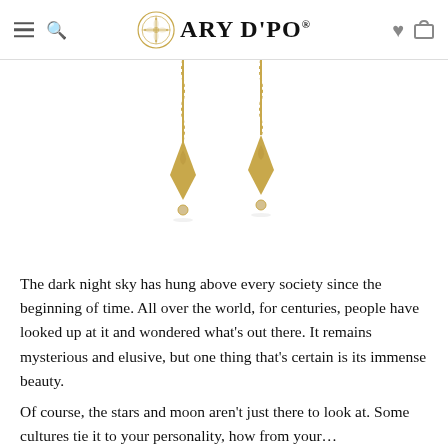ARY D'PO® — navigation bar with hamburger menu, search icon, logo, heart icon, and shopping bag icon
[Figure (photo): Two gold drop earrings with chain and arrowhead/heart pendant with a small dangling bead, photographed on white background]
The dark night sky has hung above every society since the beginning of time. All over the world, for centuries, people have looked up at it and wondered what's out there. It remains mysterious and elusive, but one thing that's certain is its immense beauty.
Of course, the stars and moon aren't just there to look at. Some cultures tie it to your personality, how from your…